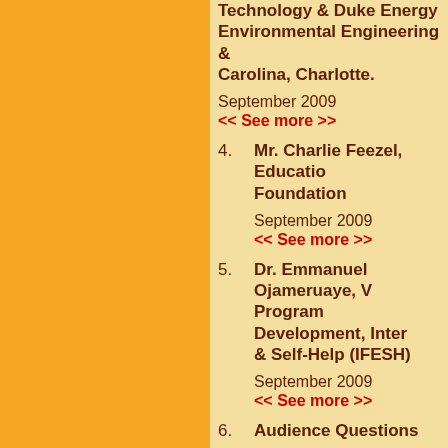Technology & Duke Energy Environmental Engineering Carolina, Charlotte.
September 2009
<< See more >>
4. Mr. Charlie Feezel, Education Foundation
September 2009
<< See more >>
5. Dr. Emmanuel Ojameruaye, Program Development, Inter & Self-Help (IFESH)
September 2009
<< See more >>
6. Audience Questions
September 2009
<< See more >>
Contact Us   Donate   Ma... © 2013 Leadership Africa USA | Web